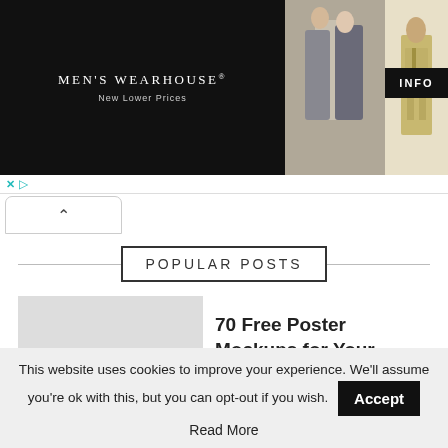[Figure (screenshot): Men's Wearhouse advertisement banner showing a couple in formal wear, a man in a tan suit, with INFO button. Has X and play controls at bottom left.]
[Figure (screenshot): Scroll-up chevron button (^) in a rounded rectangle tab]
POPULAR POSTS
[Figure (photo): Thumbnail placeholder (gray rectangle) for '70 Free Poster Mockups' post]
70 Free Poster Mockups for Your Professional Design...
[Figure (photo): Thumbnail placeholder (gray rectangle) for '63 Free PSD Mockup Templates' post]
63 Free PSD Mockup Templates for Your Logo Designs
This website uses cookies to improve your experience. We'll assume you're ok with this, but you can opt-out if you wish.
Accept
Read More